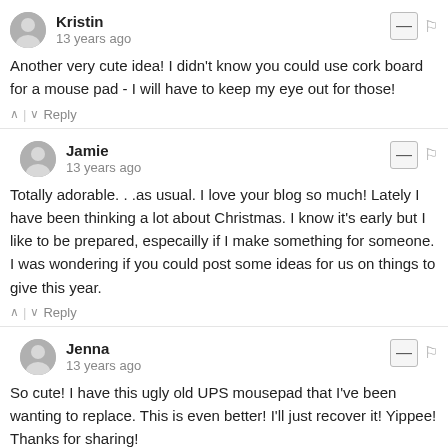[Figure (illustration): User avatar for Kristin - grey silhouette person icon]
Kristin
13 years ago
Another very cute idea! I didn't know you could use cork board for a mouse pad - I will have to keep my eye out for those!
^ | v  Reply
[Figure (illustration): User avatar for Jamie - grey silhouette person icon]
Jamie
13 years ago
Totally adorable. . .as usual. I love your blog so much! Lately I have been thinking a lot about Christmas. I know it's early but I like to be prepared, especailly if I make something for someone. I was wondering if you could post some ideas for us on things to give this year.
^ | v  Reply
[Figure (illustration): User avatar for Jenna - grey silhouette person icon]
Jenna
13 years ago
So cute! I have this ugly old UPS mousepad that I've been wanting to replace. This is even better! I'll just recover it! Yippee! Thanks for sharing!
^ | v  Reply